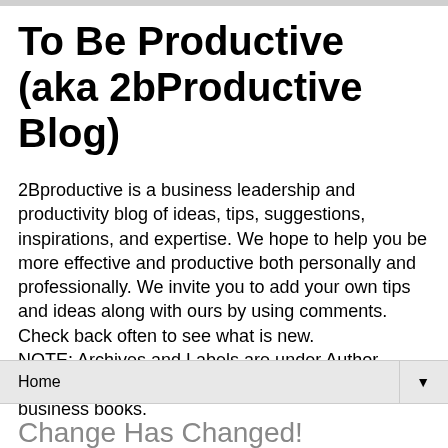To Be Productive (aka 2bProductive Blog)
2Bproductive is a business leadership and productivity blog of ideas, tips, suggestions, inspirations, and expertise. We hope to help you be more effective and productive both personally and professionally. We invite you to add your own tips and ideas along with ours by using comments. Check back often to see what is new. NOTE: Archives and Labels are under Author information at right. Check out menu at top for business books.
Home ▼
Change Has Changed!
The world is not the same now...as it was when you read